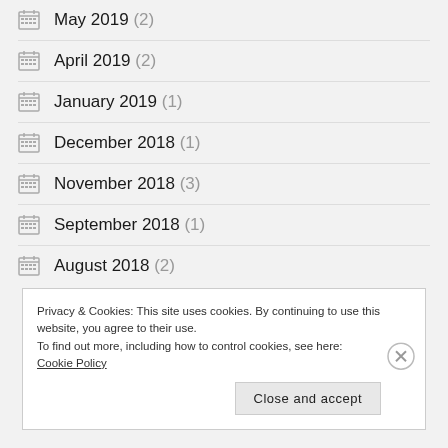May 2019 (2)
April 2019 (2)
January 2019 (1)
December 2018 (1)
November 2018 (3)
September 2018 (1)
August 2018 (2)
Privacy & Cookies: This site uses cookies. By continuing to use this website, you agree to their use.
To find out more, including how to control cookies, see here: Cookie Policy
Close and accept